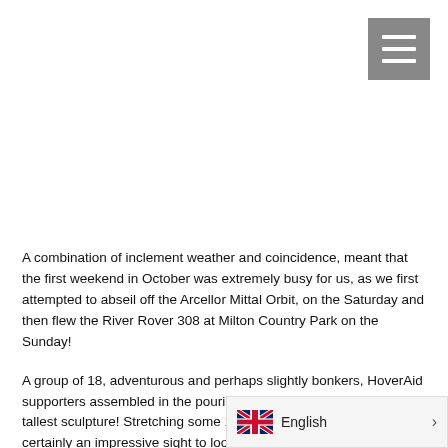[Figure (other): Navigation hamburger menu button (three white horizontal lines on grey background), top right corner]
A combination of inclement weather and coincidence, meant that the first weekend in October was extremely busy for us, as we first attempted to abseil off the Arcellor Mittal Orbit, on the Saturday and then flew the River Rover 308 at Milton Country Park on the Sunday!
A group of 18, adventurous and perhaps slightly bonkers, HoverAid supporters assembled in the pouring rain, at the base of the UK’s tallest sculpture! Stretching some 114.5 metres into the sky- it is certainly an impressive sight to look up to – and quite terrifying when looking down!
We were told that unfortunately, the str… stop our endeavours and so we crowde… lst
[Figure (other): Language selector bar showing UK flag, the word English, and a right arrow chevron]